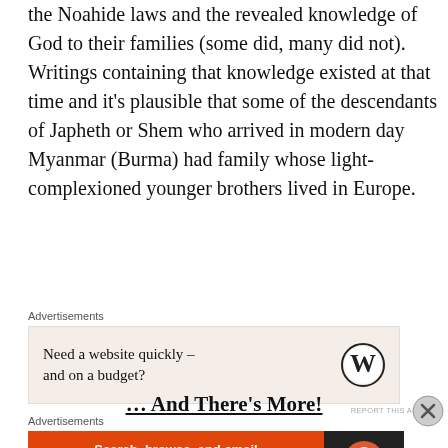the Noahide laws and the revealed knowledge of God to their families (some did, many did not). Writings containing that knowledge existed at that time and it's plausible that some of the descendants of Japheth or Shem who arrived in modern day Myanmar (Burma) had family whose light-complexioned younger brothers lived in Europe.
[Figure (other): Advertisement box with beige background: 'Need a website quickly – and on a budget?' with WordPress logo]
… And There's More!
[Figure (other): DuckDuckGo advertisement: 'Search, browse, and email with more privacy. All in One Free App' on orange background with DuckDuckGo logo on dark background]